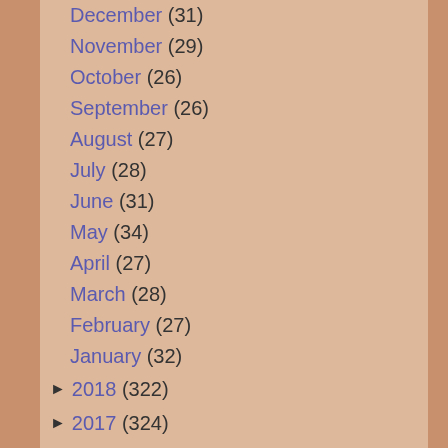December (31)
November (29)
October (26)
September (26)
August (27)
July (28)
June (31)
May (34)
April (27)
March (28)
February (27)
January (32)
► 2018 (322)
► 2017 (324)
► 2016 (347)
► 2015 (382)
► 2014 (404)
► 2013 (430)